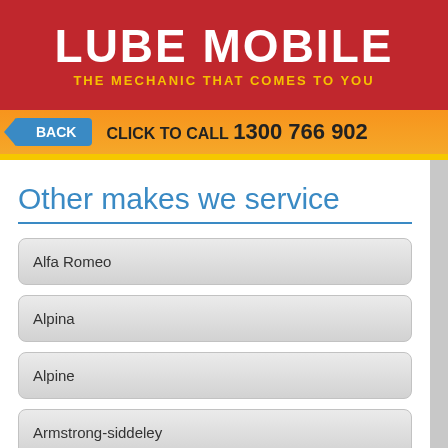LUBE MOBILE — THE MECHANIC THAT COMES TO YOU
BACK   CLICK TO CALL 1300 766 902
Other makes we service
Alfa Romeo
Alpina
Alpine
Armstrong-siddeley
Asia Motors
Aston Martin